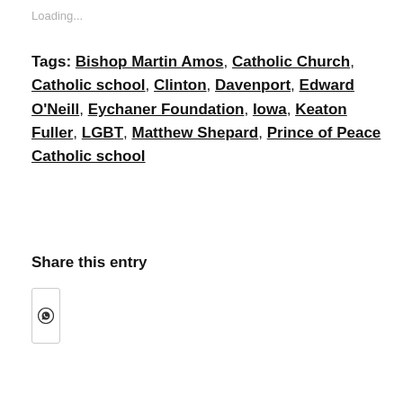Loading...
Tags: Bishop Martin Amos, Catholic Church, Catholic school, Clinton, Davenport, Edward O'Neill, Eychaner Foundation, Iowa, Keaton Fuller, LGBT, Matthew Shepard, Prince of Peace Catholic school
Share this entry
[Figure (other): WhatsApp share button icon inside a small bordered rectangle]